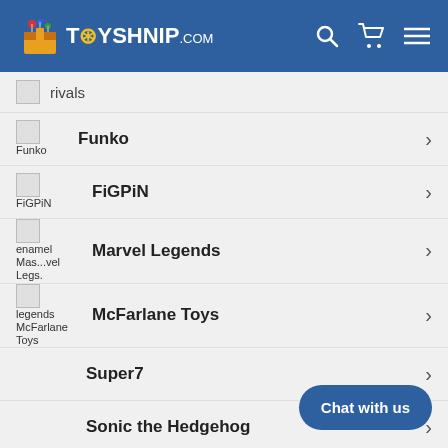TOYSHNIP.com
Funko
FiGPiN
Marvel Legends
McFarlane Toys
Super7
Sonic the Hedgehog
Star Wars
Masters of the Universe
Heroes of Goo Jit Zu
Chat with us